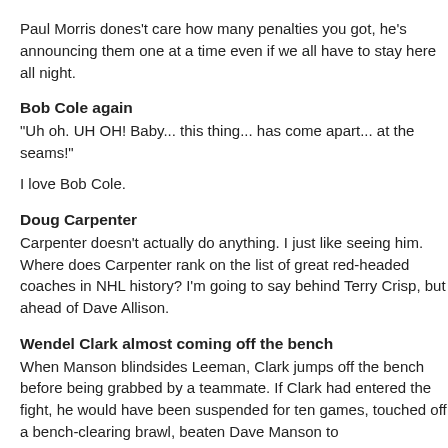Paul Morris dones't care how many penalties you got, he's announcing them one at a time even if we all have to stay here all night.
Bob Cole again
"Uh oh. UH OH! Baby... this thing... has come apart... at the seams!"
I love Bob Cole.
Doug Carpenter
Carpenter doesn't actually do anything. I just like seeing him. Where does Carpenter rank on the list of great red-headed coaches in NHL history? I'm going to say behind Terry Crisp, but ahead of Dave Allison.
Wendel Clark almost coming off the bench
When Manson blindsides Leeman, Clark jumps off the bench before being grabbed by a teammate. If Clark had entered the fight, he would have been suspended for ten games, touched off a bench-clearing brawl, beaten Dave Manson to